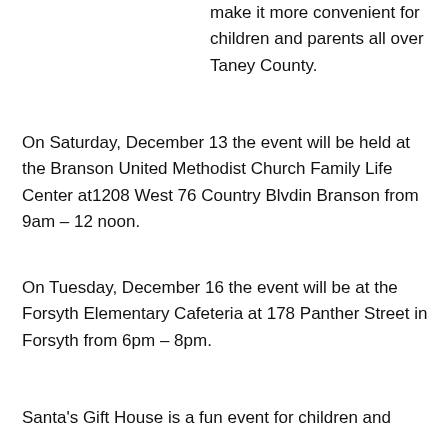make it more convenient for children and parents all over Taney County.
On Saturday, December 13 the event will be held at the Branson United Methodist Church Family Life Center at1208 West 76 Country Blvdin Branson from 9am – 12 noon.
On Tuesday, December 16 the event will be at the Forsyth Elementary Cafeteria at 178 Panther Street in Forsyth from 6pm – 8pm.
Santa's Gift House is a fun event for children and